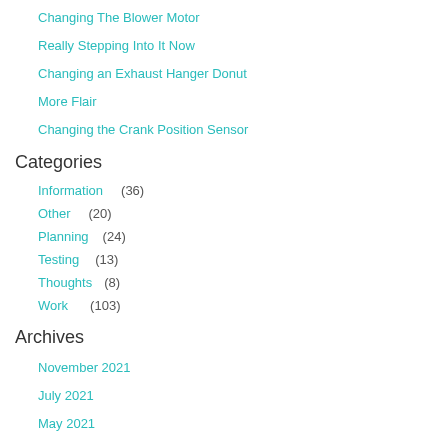Changing The Blower Motor
Really Stepping Into It Now
Changing an Exhaust Hanger Donut
More Flair
Changing the Crank Position Sensor
Categories
Information (36)
Other (20)
Planning (24)
Testing (13)
Thoughts (8)
Work (103)
Archives
November 2021
July 2021
May 2021